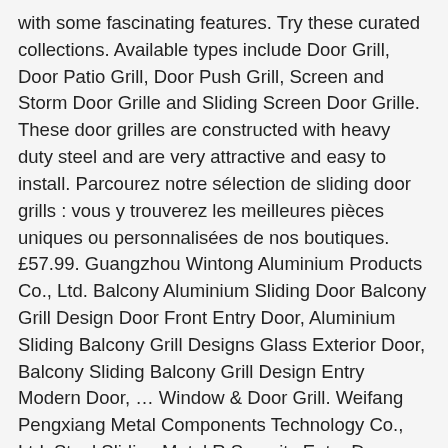with some fascinating features. Try these curated collections. Available types include Door Grill, Door Patio Grill, Door Push Grill, Screen and Storm Door Grille and Sliding Screen Door Grille. These door grilles are constructed with heavy duty steel and are very attractive and easy to install. Parcourez notre sélection de sliding door grills : vous y trouverez les meilleures pièces uniques ou personnalisées de nos boutiques. £57.99. Guangzhou Wintong Aluminium Products Co., Ltd. Balcony Aluminium Sliding Door Balcony Grill Design Door Front Entry Door, Aluminium Sliding Balcony Grill Designs Glass Exterior Door, Balcony Sliding Balcony Grill Design Entry Modern Door, … Window & Door Grill. Weifang Pengxiang Metal Components Technology Co., Ltd. Steel Sliding Metal R Security Entry Door Entrancedoor Wrought Iron Grill Design, Aluminium Metal Casement/Sliding Window/Door Iron Grill Design/Building Material, High Quality Cheap Customized Privacy Grill Fence Gate Sliding Door, Brand New Interior Design Picture Frames Standard, Brand New Interior Design Picture Frames